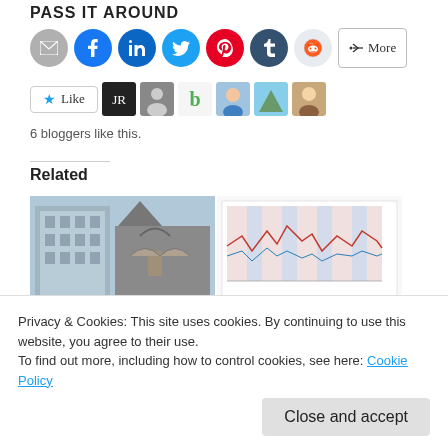Pass it Around
[Figure (infographic): Social share buttons: email (grey), Facebook (blue), LinkedIn (dark blue), Twitter (light blue), Pinterest (red), Tumblr (dark), Reddit (light grey), and a More button]
[Figure (infographic): Like button with star icon and 6 blogger avatar thumbnails]
6 bloggers like this.
Related
[Figure (photo): Two related article thumbnails: a building/church photo on the left, and a chart/graph image on the right]
Privacy & Cookies: This site uses cookies. By continuing to use this website, you agree to their use.
To find out more, including how to control cookies, see here: Cookie Policy
Close and accept